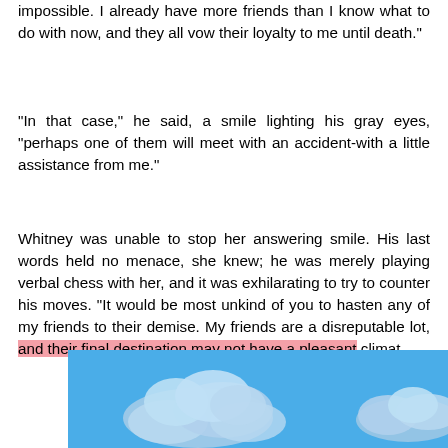impossible. I already have more friends than I know what to do with now, and they all vow their loyalty to me until death."
"In that case," he said, a smile lighting his gray eyes, "perhaps one of them will meet with an accident-with a little assistance from me."
Whitney was unable to stop her answering smile. His last words held no menace, she knew; he was merely playing verbal chess with her, and it was exhilarating to try to counter his moves. "It would be most unkind of you to hasten any of my friends to their demise. My friends are a disreputable lot, and their final destination may not have a pleasant climat
[Figure (illustration): A blue sky with white clouds illustration/image overlapping the bottom of the text.]